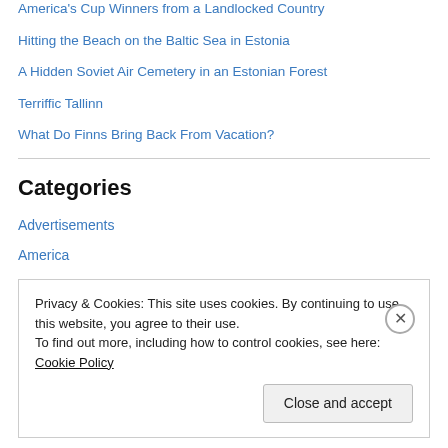America's Cup Winners from a Landlocked Country
Hitting the Beach on the Baltic Sea in Estonia
A Hidden Soviet Air Cemetery in an Estonian Forest
Terriffic Tallinn
What Do Finns Bring Back From Vacation?
Categories
Advertisements
America
Animals
Annecy
Privacy & Cookies: This site uses cookies. By continuing to use this website, you agree to their use.
To find out more, including how to control cookies, see here: Cookie Policy
Close and accept